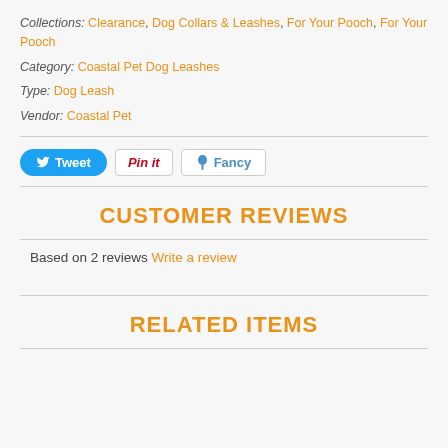Collections: Clearance, Dog Collars & Leashes, For Your Pooch, For Your Pooch
Category: Coastal Pet Dog Leashes
Type: Dog Leash
Vendor: Coastal Pet
[Figure (other): Social sharing buttons: Tweet, Pin it, Fancy]
CUSTOMER REVIEWS
Based on 2 reviews Write a review
RELATED ITEMS